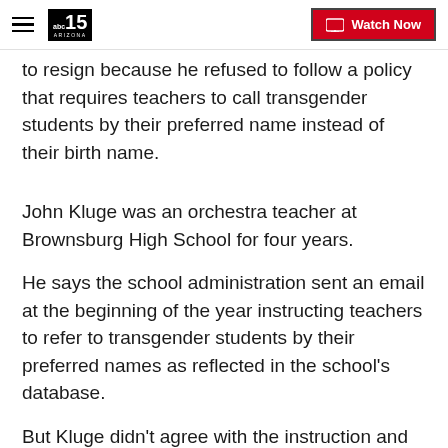abc15 Arizona — Watch Now
to resign because he refused to follow a policy that requires teachers to call transgender students by their preferred name instead of their birth name.
John Kluge was an orchestra teacher at Brownsburg High School for four years.
He says the school administration sent an email at the beginning of the year instructing teachers to refer to transgender students by their preferred names as reflected in the school's database.
But Kluge didn't agree with the instruction and wanted to call those students by their last name instead